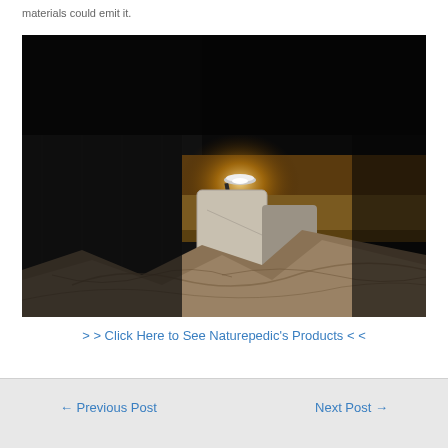materials could emit it.
[Figure (photo): Dark bedroom scene with a bed with rumpled tan/brown bedding and white pillows, illuminated by a single small desk lamp on the headboard casting warm golden light in an otherwise very dark room.]
> > Click Here to See Naturepedic's Products < <
← Previous Post    Next Post →